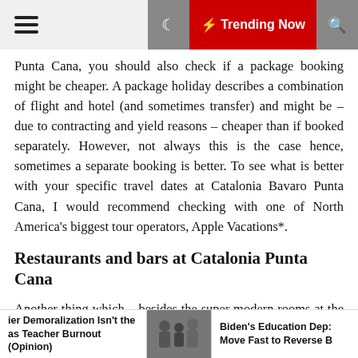Trending Now
Punta Cana, you should also check if a package booking might be cheaper. A package holiday describes a combination of flight and hotel (and sometimes transfer) and might be – due to contracting and yield reasons – cheaper than if booked separately. However, not always this is the case hence, sometimes a separate booking is better. To see what is better with your specific travel dates at Catalonia Bavaro Punta Cana, I would recommend checking with one of North America's biggest tour operators, Apple Vacations*.
Restaurants and bars at Catalonia Punta Cana
Another thing which – besides the super modern rooms at the Privileged level for such a low price (at least during low season) – completely surprised us was the gastronomy at Catalonia Punta Cana. Don't get me
ier Demoralization Isn't the as Teacher Burnout (Opinion) | Biden's Education Dep: Move Fast to Reverse B